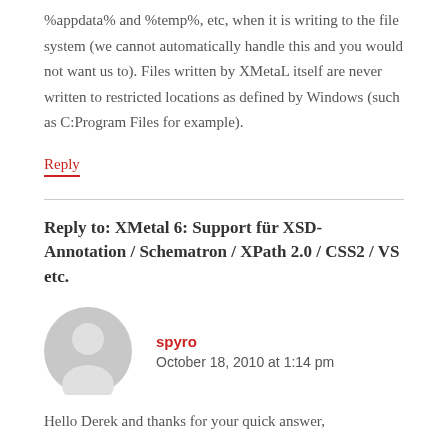%appdata% and %temp%, etc, when it is writing to the file system (we cannot automatically handle this and you would not want us to). Files written by XMetaL itself are never written to restricted locations as defined by Windows (such as C:Program Files for example).
Reply
Reply to: XMetal 6: Support für XSD-Annotation / Schematron / XPath 2.0 / CSS2 / VS etc.
spyro
October 18, 2010 at 1:14 pm
Hello Derek and thanks for your quick answer,